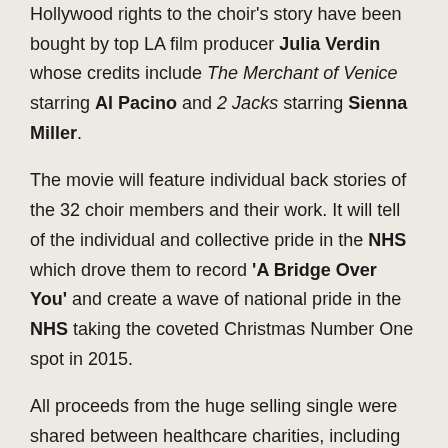Hollywood rights to the choir's story have been bought by top LA film producer Julia Verdin whose credits include The Merchant of Venice starring Al Pacino and 2 Jacks starring Sienna Miller.
The movie will feature individual back stories of the 32 choir members and their work. It will tell of the individual and collective pride in the NHS which drove them to record 'A Bridge Over You' and create a wave of national pride in the NHS taking the coveted Christmas Number One spot in 2015.
All proceeds from the huge selling single were shared between healthcare charities, including Carers UK and the mental health charity Mind.
In one of the most dramatic twists in recording history,